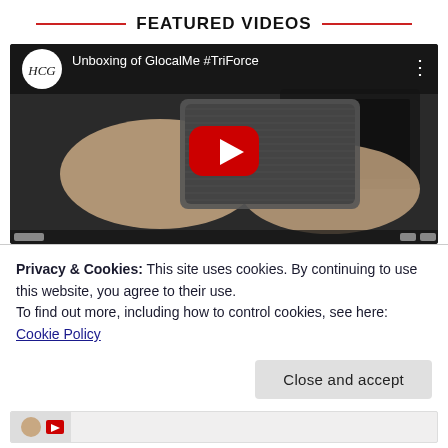FEATURED VIDEOS
[Figure (screenshot): YouTube video thumbnail showing hands unboxing a GlocalMe #TriForce device, with a red play button overlay and channel logo. Video title: Unboxing of GlocalMe #TriForce]
Privacy & Cookies: This site uses cookies. By continuing to use this website, you agree to their use.
To find out more, including how to control cookies, see here: Cookie Policy
Close and accept